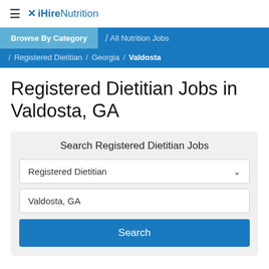≡ ✕ iHireNutrition
[Figure (screenshot): iHireNutrition navigation bar with Browse By Category, All Nutrition Jobs, Registered Dietitian, Georgia, Valdosta breadcrumb links on blue background]
Registered Dietitian Jobs in Valdosta, GA
Search Registered Dietitian Jobs
Registered Dietitian
Valdosta, GA
Search